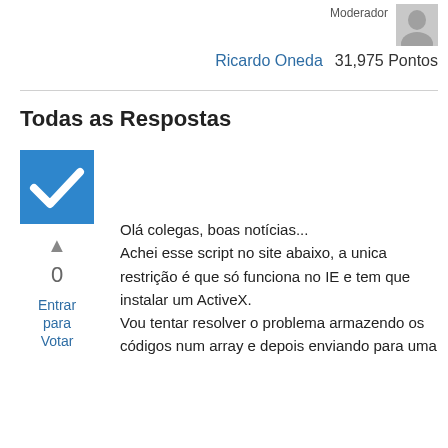Moderador
Ricardo Oneda   31,975 Pontos
Todas as Respostas
[Figure (other): Blue checkbox with white checkmark (accepted answer indicator)]
▲
0
Entrar para Votar
Olá colegas, boas notícias...
Achei esse script no site abaixo, a unica restrição é que só funciona no IE e tem que instalar um ActiveX.
Vou tentar resolver o problema armazendo os códigos num array e depois enviando para uma